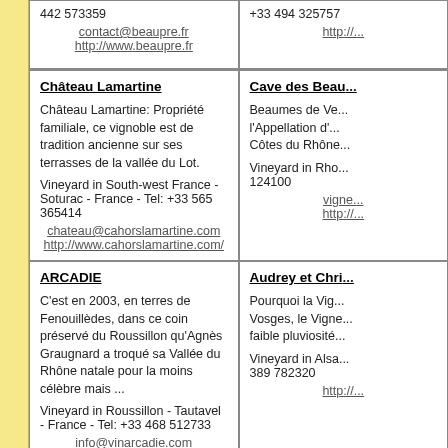| 442 573359

contact@beaupre.fr
http://www.beaupre.fr | +33 494 325757

http://... |
| Château Lamartine

Château Lamartine: Propriété familiale, ce vignoble est de tradition ancienne sur ses terrasses de la vallée du Lot.

Vineyard in South-west France - Soturac - France - Tel: +33 565 365414

chateau@cahorslamartine.com
http://www.cahorslamartine.com/ | Cave des Beau...

Beaumes de Ve...
l'Appellation d'...
Côtes du Rhône...

Vineyard in Rho...
124100

vigne...
http://... |
| ARCADIE

C'est en 2003, en terres de Fenouillèdes, dans ce coin préservé du Roussillon qu'Agnès Graugnard a troqué sa Vallée du Rhône natale pour la moins célèbre mais ...

Vineyard in Roussillon - Tautavel - France - Tel: +33 468 512733

info@vinarcadie.com
http://www.vinarcadie.com | Audrey et Chri...

Pourquoi la Vig...
Vosges, le Vigne...
faible pluviosité...

Vineyard in Alsa...
389 782320

http://... |